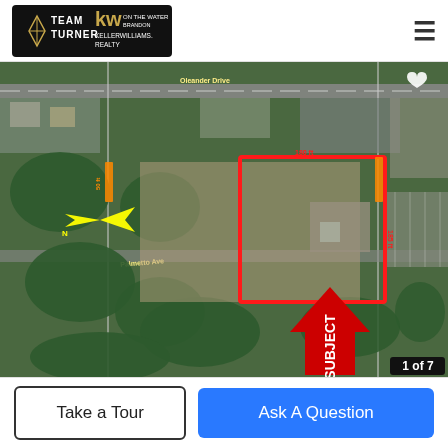[Figure (logo): Team Turner KW Keller Williams logo on dark background]
[Figure (map): Aerial satellite map showing a subject property outlined in red with a large red arrow labeled SUBJECT pointing up to the parcel. Yellow arrow visible on the left. Street labels visible including what appears to be Palmetto Ave. Image counter shows 1 of 7. White heart icon top right.]
Take a Tour
Ask A Question